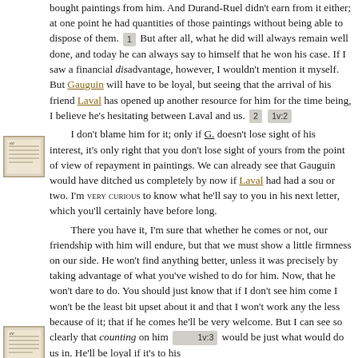bought paintings from him. And Durand-Ruel didn't earn from it either; at one point he had quantities of those paintings without being able to dispose of them. [1] But after all, what he did will always remain well done, and today he can always say to himself that he won his case. If I saw a financial disadvantage, however, I wouldn't mention it myself. But Gauguin will have to be loyal, but seeing that the arrival of his friend Laval has opened up another resource for him for the time being, I believe he's hesitating between Laval and us. [2] [1v:2]

I don't blame him for it; only if G. doesn't lose sight of his interest, it's only right that you don't lose sight of yours from the point of view of repayment in paintings. We can already see that Gauguin would have ditched us completely by now if Laval had had a sou or two. I'm VERY CURIOUS to know what he'll say to you in his next letter, which you'll certainly have before long.

There you have it, I'm sure that whether he comes or not, our friendship with him will endure, but that we must show a little firmness on our side. He won't find anything better, unless it was precisely by taking advantage of what you've wished to do for him. Now, that he won't dare to do. You should just know that if I don't see him come I won't be the least bit upset about it and that I won't work any the less because of it; that if he comes he'll be very welcome. But I can see so clearly that counting on him [1v:3] would be just what would do us in. He'll be loyal if it's to his
[Figure (illustration): Small thumbnail image of a handwritten letter or document, positioned on the left margin beside the paragraph beginning 'I don't blame him for it'.]
[Figure (illustration): Small thumbnail image of a handwritten letter or document, positioned on the left margin beside the last paragraph.]